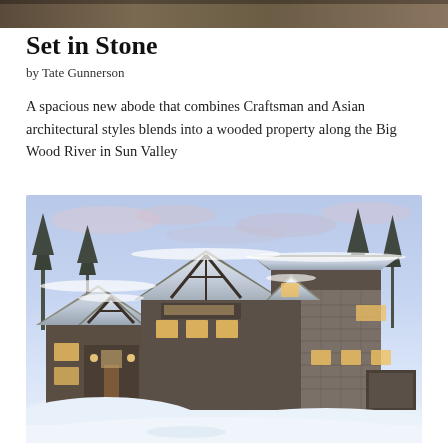[Figure (photo): Partial top strip of an interior photo visible at the very top of the page]
Set in Stone
by Tate Gunnerson
A spacious new abode that combines Craftsman and Asian architectural styles blends into a wooded property along the Big Wood River in Sun Valley
[Figure (photo): Exterior winter photograph of a large Craftsman-Asian style home covered in snow, with warm lit windows, stone and wood siding, multiple rooflines, set against a twilight blue sky with pink clouds and snow-covered trees]